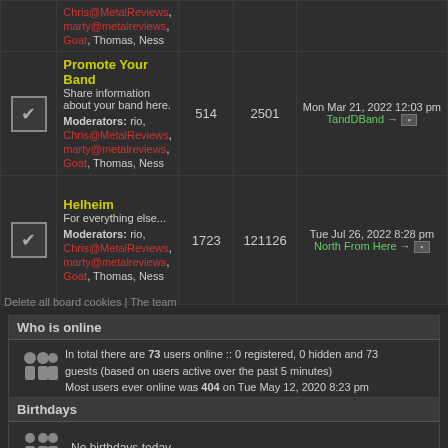|  | Forum | Topics | Posts | Last post |
| --- | --- | --- | --- | --- |
| [icon] | Promote Your Band
Share information about your band here.
Moderators: rio, Chris@MetalReviews, marty@metalreviews, Goat, Thomas, Ness | 514 | 2501 | Mon Mar 21, 2022 12:03 pm TandDBand |
| [icon] | Helheim
For everything else...
Moderators: rio, Chris@MetalReviews, marty@metalreviews, Goat, Thomas, Ness | 1723 | 121126 | Tue Jul 26, 2022 8:28 pm North From Here |
Delete all board cookies | The team
Who is online
In total there are 73 users online :: 0 registered, 0 hidden and 73 guests (based on users active over the past 5 minutes)
Most users ever online was 404 on Tue May 12, 2020 8:23 pm

Registered users: No registered users
Legend :: Administrators, Global moderators
Birthdays
No birthdays today